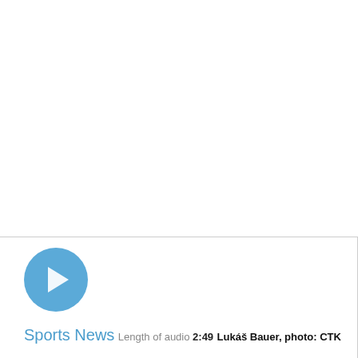[Figure (other): Blue circular play button icon with white triangle play arrow]
Sports News
Length of audio 2:49
Lukáš Bauer, photo: CTK